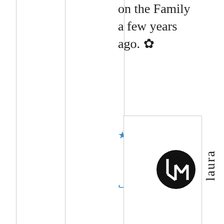on the Family a few years ago. ✿
Loading...
↪ Reply
[Figure (logo): Round black logo with stylized 'LM' letters in white]
laura